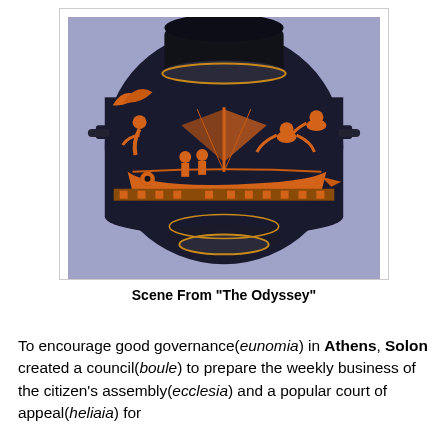[Figure (photo): Ancient Greek red-figure pottery (volute krater) depicting a scene from 'The Odyssey', showing a ship with sailors and mythological figures against a dark navy background.]
Scene From "The Odyssey"
To encourage good governance(eunomia) in Athens, Solon created a council(boule) to prepare the weekly business of the citizen's assembly(ecclesia) and a popular court of appeal(heliaia) for